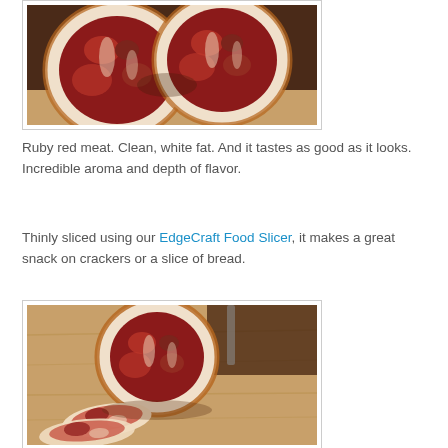[Figure (photo): Close-up photo of sliced cured meat (capicola/coppa) showing ruby red meat with white fat marbling, two round cross-section slices visible on a wooden surface.]
Ruby red meat. Clean, white fat. And it tastes as good as it looks. Incredible aroma and depth of flavor.
Thinly sliced using our EdgeCraft Food Slicer, it makes a great snack on crackers or a slice of bread.
[Figure (photo): Photo of cured meat (capicola/coppa) on a wooden cutting board, showing a whole piece standing upright and thin slices laid in front of it.]